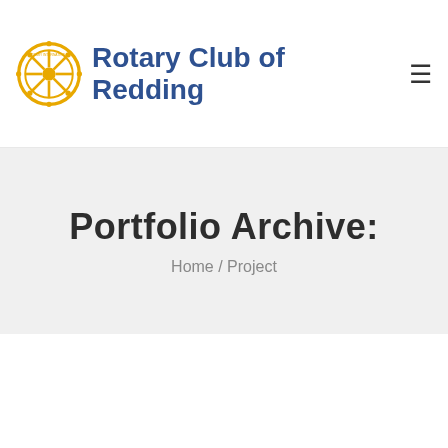Rotary Club of Redding
Portfolio Archive:
Home / Project